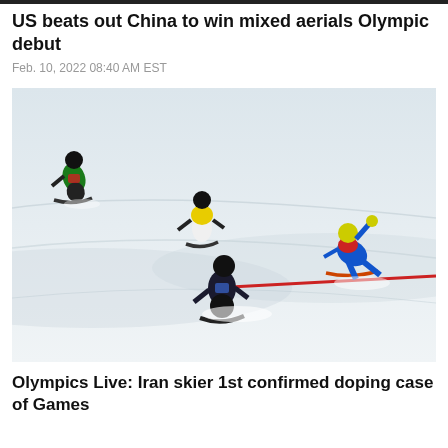US beats out China to win mixed aerials Olympic debut
Feb. 10, 2022 08:40 AM EST
[Figure (photo): Four snowboarders racing down a snowy slope during a snowboard cross event at the Olympics. One rider in blue is fallen on the right side, one in yellow vest is in the middle, one in black jacket is in the foreground leading, and one in green jacket is on the upper left.]
Olympics Live: Iran skier 1st confirmed doping case of Games